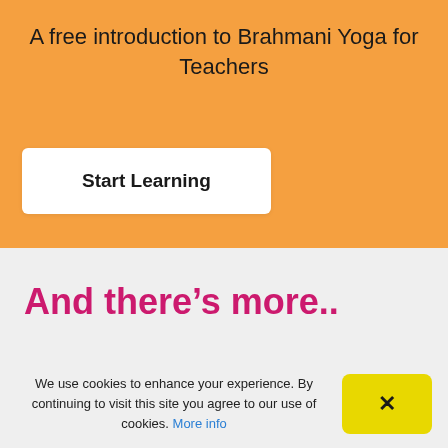A free introduction to Brahmani Yoga for Teachers
[Figure (other): Start Learning button — white rounded rectangle on orange background]
And there's more..
We use cookies to enhance your experience. By continuing to visit this site you agree to our use of cookies. More info